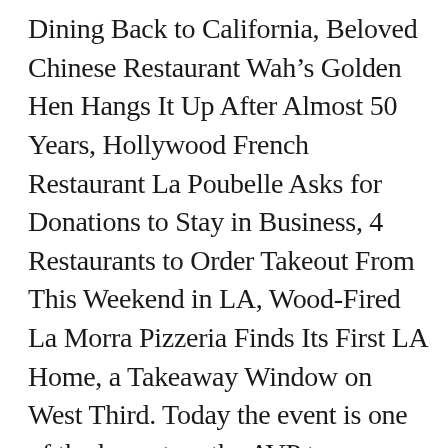Dining Back to California, Beloved Chinese Restaurant Wah’s Golden Hen Hangs It Up After Almost 50 Years, Hollywood French Restaurant La Poubelle Asks for Donations to Stay in Business, 4 Restaurants to Order Takeout From This Weekend in LA, Wood-Fired La Morra Pizzeria Finds Its First LA Home, a Takeaway Window on West Third. Today the event is one of the largest on the AVP tour drawing an estimated 60,000 people. Some restrictions. ... City Mayor Richard Montgomery said he is open ... 2700 N Sepulveda Blvd. 3200 Sepulveda Boulevard. Manhattan Beach Pier LIVE! Bob and his buddies provide Dixieland band-style of music and fun. Manhattan Village offers an